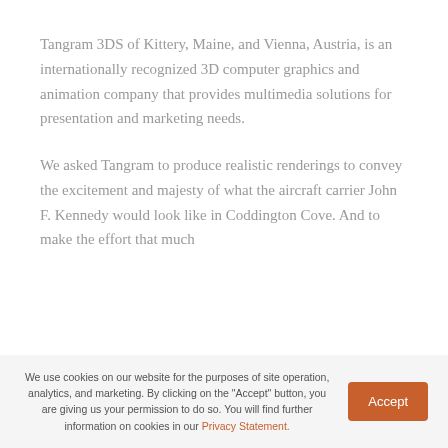Tangram 3DS of Kittery, Maine, and Vienna, Austria, is an internationally recognized 3D computer graphics and animation company that provides multimedia solutions for presentation and marketing needs.
We asked Tangram to produce realistic renderings to convey the excitement and majesty of what the aircraft carrier John F. Kennedy would look like in Coddington Cove. And to make the effort that much
We use cookies on our website for the purposes of site operation, analytics, and marketing. By clicking on the "Accept" button, you are giving us your permission to do so. You will find further information on cookies in our Privacy Statement.